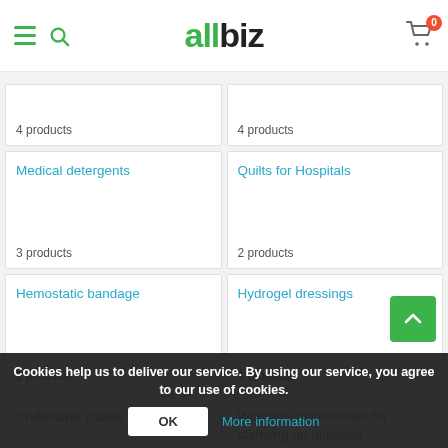allbiz
4 products
4 products
Medical detergents
3 products
Quilts for Hospitals
2 products
Hemostatic bandage
2 products
Hydrogel dressings
1 products
Underlayer rubber oilcloth fabric
1 products
Women's accessories for standing up urination
1 products
Cookies help us to deliver our service. By using our service, you agree to our use of cookies.
OK
More information